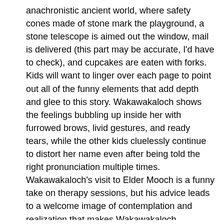anachronistic ancient world, where safety cones made of stone mark the playground, a stone telescope is aimed out the window, mail is delivered (this part may be accurate, I'd have to check), and cupcakes are eaten with forks. Kids will want to linger over each page to point out all of the funny elements that add depth and glee to this story. Wakawakaloch shows the feelings bubbling up inside her with furrowed brows, livid gestures, and ready tears, while the other kids cluelessly continue to distort her name even after being told the right pronunciation multiple times. Wakawakaloch's visit to Elder Mooch is a funny take on therapy sessions, but his advice leads to a welcome image of contemplation and realization that makes Wakawakaloch appreciate her family history and also want to contribute to its—and society's—advancement. Wakawakaloch's T-shirt booth is sure to inspire kids to make their own shirt too.
A delightfully inventive story with many applications and prompts for further discussion as well as activities celebrating individuality, My Name is Wakawakaloch! will be a much-asked-for favorite on home, classroom, and public library